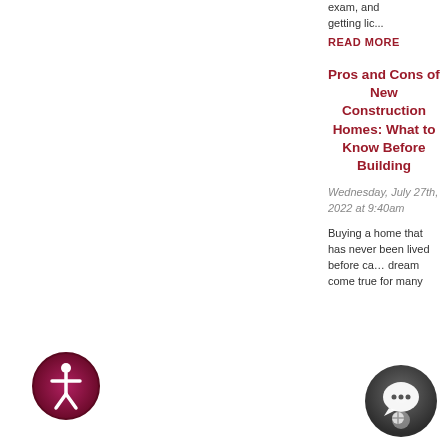exam, and getting lic...
READ MORE
Pros and Cons of New Construction Homes: What to Know Before Building
Wednesday, July 27th, 2022 at 9:40am
Buying a home that has never been lived before can be a dream come true for many
[Figure (logo): Accessibility icon — circular dark red/maroon badge with white human figure in universal accessibility pose]
[Figure (logo): Chat/support icon — circular dark gradient badge with white speech bubble and person silhouette]